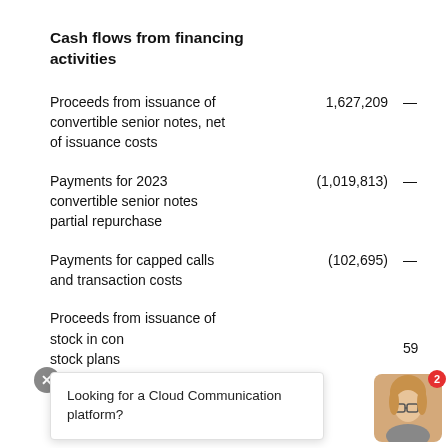Cash flows from financing activities
| Description | Value1 | Value2 |
| --- | --- | --- |
| Proceeds from issuance of convertible senior notes, net of issuance costs | 1,627,209 | — |
| Payments for 2023 convertible senior notes partial repurchase | (1,019,813) | — |
| Payments for capped calls and transaction costs | (102,695) | — |
| Proceeds from issuance of stock in con[nection with] stock plans | 59[x] |  |